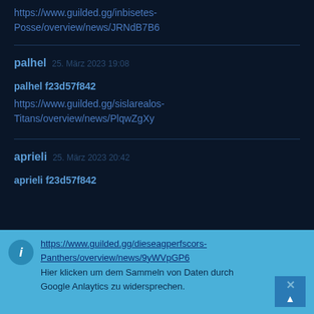https://www.guilded.gg/inbisetes-Posse/overview/news/JRNdB7B6
palhel   25. März 2023 19:08
palhel f23d57f842
https://www.guilded.gg/sislarealos-Titans/overview/news/PlqwZgXy
aprieli   25. März 2023 20:42
aprieli f23d57f842
https://www.guilded.gg/dieseagperfscors-Panthers/overview/news/9yWVpGP6
Hier klicken um dem Sammeln von Daten durch Google Anlaytics zu widersprechen.